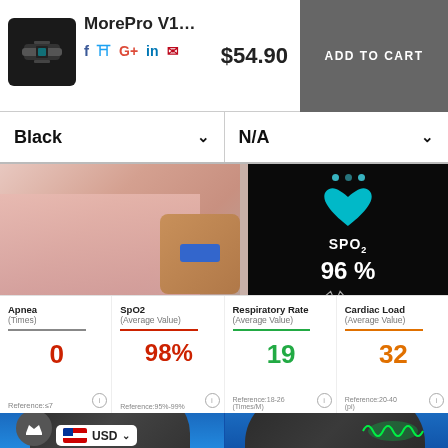MorePro V1... $54.90 ADD TO CART
Black  N/A
[Figure (photo): Person wearing a fitness tracker wristband, adjusting something. Right side shows device screen displaying SPO2 96%.]
| Apnea (Times) | SpO2 (Average Value) | Respiratory Rate (Average Value) | Cardiac Load (Average Value) |
| --- | --- | --- | --- |
| 0 | 98% | 19 | 32 |
| Reference:≤7 | Reference:95%-99% | Reference:18-26 (Times/M) | Reference:20-40 (pi) |
[Figure (photo): Two fitness tracker wristbands on blue background. Left shows USD currency selector badge overlay. Right shows green sensor light glowing.]